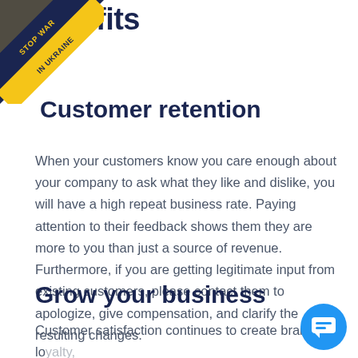[Figure (illustration): Corner ribbon badge with 'STOP WAR IN UKRAINE' text in yellow on dark blue/navy diagonal banner]
Benefits
Customer retention
When your customers know you care enough about your company to ask what they like and dislike, you will have a high repeat business rate. Paying attention to their feedback shows them they are more to you than just a source of revenue. Furthermore, if you are getting legitimate input from existing customers, please contact them to apologize, give compensation, and clarify the resulting changes.
Grow your business
Customer satisfaction continues to create brand lo... contributing to repeat sales. They also spread the word as